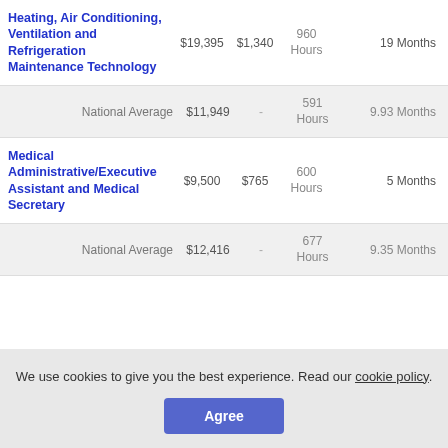| Program | Cost | Fee | Hours | Duration |
| --- | --- | --- | --- | --- |
| Heating, Air Conditioning, Ventilation and Refrigeration Maintenance Technology | $19,395 | $1,340 | 960 Hours | 19 Months |
| National Average | $11,949 | - | 591 Hours | 9.93 Months |
| Medical Administrative/Executive Assistant and Medical Secretary | $9,500 | $765 | 600 Hours | 5 Months |
| National Average | $12,416 | - | 677 Hours | 9.35 Months |
We use cookies to give you the best experience. Read our cookie policy.